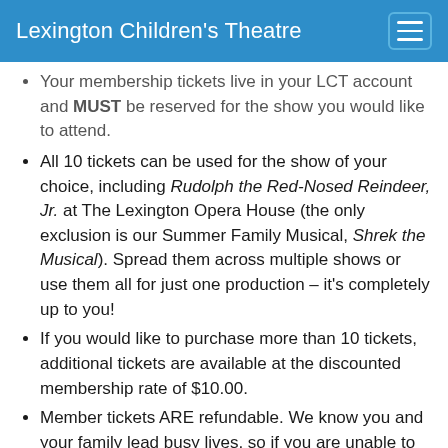Lexington Children's Theatre
Your membership tickets live in your LCT account and MUST be reserved for the show you would like to attend.
All 10 tickets can be used for the show of your choice, including Rudolph the Red-Nosed Reindeer, Jr. at The Lexington Opera House (the only exclusion is our Summer Family Musical, Shrek the Musical). Spread them across multiple shows or use them all for just one production – it's completely up to you!
If you would like to purchase more than 10 tickets, additional tickets are available at the discounted membership rate of $10.00.
Member tickets ARE refundable. We know you and your family lead busy lives, so if you are unable to use any of your membership tickets, they can be refunded. Please email emcguire@lctonstage.org by May 31, 2023, to